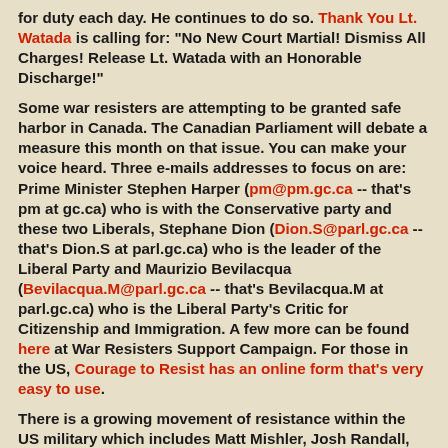for duty each day. He continues to do so. Thank You Lt. Watada is calling for: "No New Court Martial! Dismiss All Charges! Release Lt. Watada with an Honorable Discharge!"
Some war resisters are attempting to be granted safe harbor in Canada. The Canadian Parliament will debate a measure this month on that issue. You can make your voice heard. Three e-mails addresses to focus on are: Prime Minister Stephen Harper (pm@pm.gc.ca -- that's pm at gc.ca) who is with the Conservative party and these two Liberals, Stephane Dion (Dion.S@parl.gc.ca -- that's Dion.S at parl.gc.ca) who is the leader of the Liberal Party and Maurizio Bevilacqua (Bevilacqua.M@parl.gc.ca -- that's Bevilacqua.M at parl.gc.ca) who is the Liberal Party's Critic for Citizenship and Immigration. A few more can be found here at War Resisters Support Campaign. For those in the US, Courage to Resist has an online form that's very easy to use.
There is a growing movement of resistance within the US military which includes Matt Mishler, Josh Randall,